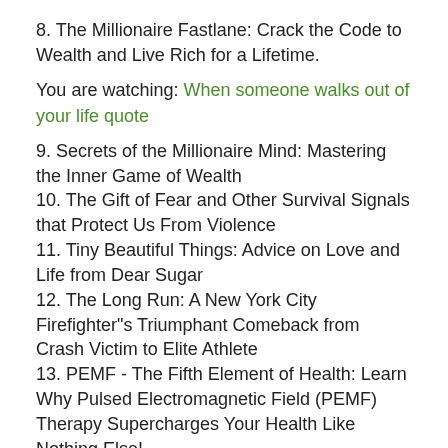8. The Millionaire Fastlane: Crack the Code to Wealth and Live Rich for a Lifetime.
You are watching: When someone walks out of your life quote
9. Secrets of the Millionaire Mind: Mastering the Inner Game of Wealth
10. The Gift of Fear and Other Survival Signals that Protect Us From Violence
11. Tiny Beautiful Things: Advice on Love and Life from Dear Sugar
12. The Long Run: A New York City Firefighter"s Triumphant Comeback from Crash Victim to Elite Athlete
13. PEMF - The Fifth Element of Health: Learn Why Pulsed Electromagnetic Field (PEMF) Therapy Supercharges Your Health Like Nothing Else!
14. Love Yourself